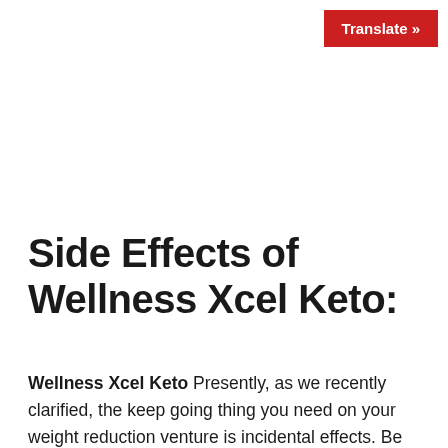[Figure (other): Red 'Translate »' button in top right corner]
Side Effects of Wellness Xcel Keto:
Wellness Xcel Keto Presently, as we recently clarified, the keep going thing you need on your weight reduction venture is incidental effects. Be that as it may, many weight reduction pills available reason frightful incidental